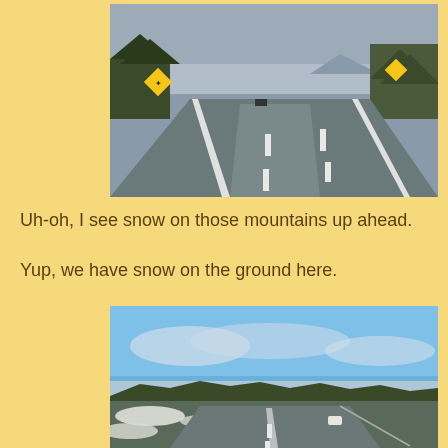[Figure (photo): Highway road photo from driver's perspective showing multiple lanes, yellow diamond road signs on both sides, overcast sky, trees and hills in the background with snow-capped mountains visible ahead.]
Uh-oh, I see snow on those mountains up ahead.
Yup, we have snow on the ground here.
[Figure (photo): Highway road photo from driver's perspective showing multiple lanes with a car visible, open blue sky with clouds, and snowy ground along the roadside with trees and hills in the background.]